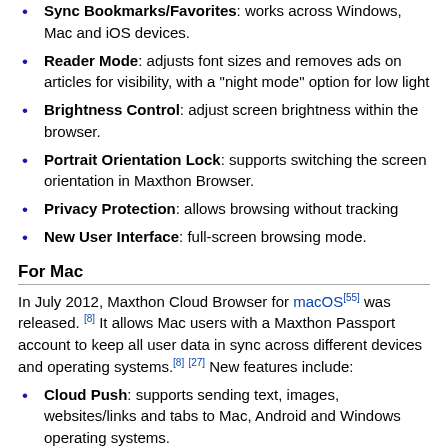Sync Bookmarks/Favorites: works across Windows, Mac and iOS devices.
Reader Mode: adjusts font sizes and removes ads on articles for visibility, with a "night mode" option for low light
Brightness Control: adjust screen brightness within the browser.
Portrait Orientation Lock: supports switching the screen orientation in Maxthon Browser.
Privacy Protection: allows browsing without tracking
New User Interface: full-screen browsing mode.
For Mac
In July 2012, Maxthon Cloud Browser for macOS[55] was released. [8] It allows Mac users with a Maxthon Passport account to keep all user data in sync across different devices and operating systems.[8] [27] New features include:
Cloud Push: supports sending text, images, websites/links and tabs to Mac, Android and Windows operating systems.
Cloud Share: supports sharing text, images, websites/links and files with other people.